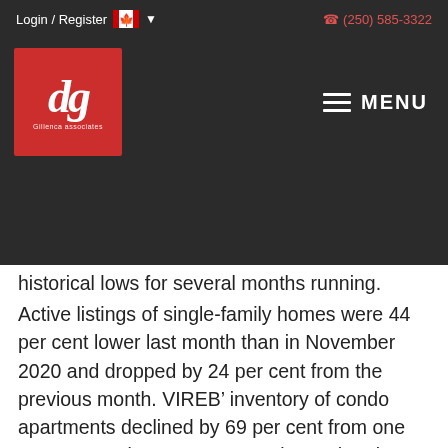Login / Register  🇨🇦 ▾    (250) 585-3322   dg Gillenca associates   MENU
historical lows for several months running.
Active listings of single-family homes were 44 per cent lower last month than in November 2020 and dropped by 24 per cent from the previous month. VIREB' inventory of condo apartments declined by 69 per cent from one year ago and was 23 per cent lower than in October. Row/townhouse inventory dropped by 55 per cent year over year and was 47 per cent lower than the previous month.
By category, 353 single-family homes sold on the MLS® System in November, a 16 per cent decrease from one year ago.